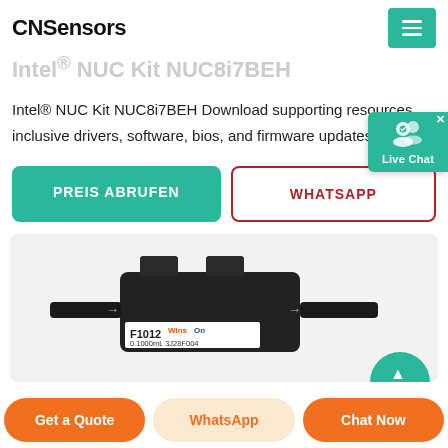CNSensors
Intel® NUC Kit NUC8i7BEH
Intel® NUC Kit NUC8i7BEH Download supporting resources inclusive drivers, software, bios, and firmware updates.
PREIS ABRUFEN
WHATSAPP
[Figure (photo): CNSensors WinSen F1012 flow sensor device, black plastic body with two inlet tubes and label showing F1012, 0.1000mL, 3J28F004]
Get a Quote | WhatsApp | Chat Now